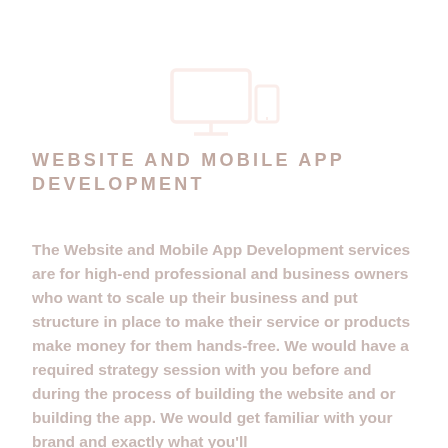[Figure (illustration): Light pink/salmon colored icon of a laptop/monitor with a smaller device (tablet) beside it, outlined style, very faint watermark-like appearance]
WEBSITE AND MOBILE APP DEVELOPMENT
The Website and Mobile App Development services are for high-end professional and business owners who want to scale up their business and put structure in place to make their service or products make money for them hands-free. We would have a required strategy session with you before and during the process of building the website and or building the app. We would get familiar with your brand and exactly what you'll